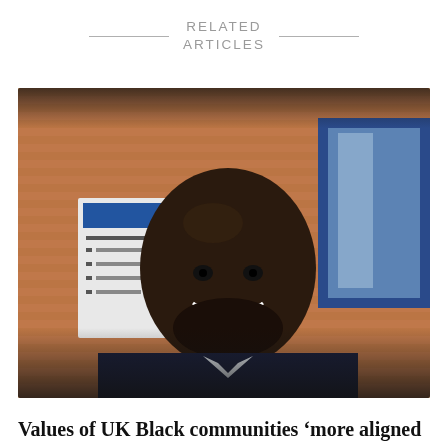RELATED ARTICLES
[Figure (photo): A smiling Black man with a beard wearing a dark navy suit and tie, standing outside a brick building with a blue-framed window and a notice board visible behind him.]
Values of UK Black communities 'more aligned